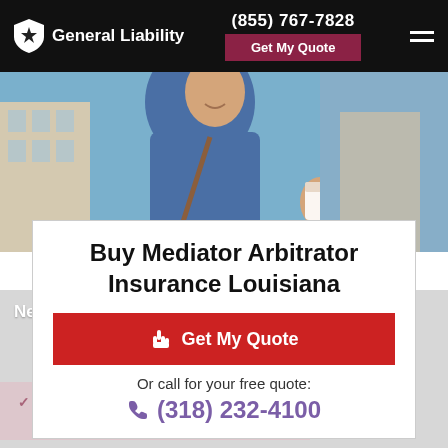General Liability | (855) 767-7828 | Get My Quote
[Figure (photo): Young smiling man holding a coffee cup, outdoors with blue sky and building in background]
Buy Mediator Arbitrator Insurance Louisiana
Get My Quote
Or call for your free quote:
(318) 232-4100